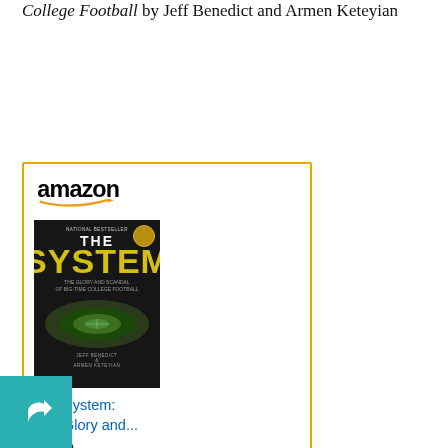College Football by Jeff Benedict and Armen Keteyian
[Figure (other): Amazon product listing for 'The System: The Glory and...' priced at $9.99 with Shop now button]
Bowled Over: Big-Time College Football from the Sixties to the BCS Era by Michael Oriard
[Figure (other): Amazon product listing for 'Bowled Over' book, partially visible at bottom of page]